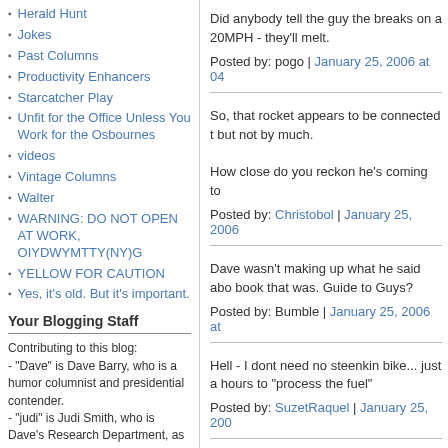Herald Hunt
Jokes
Past Columns
Productivity Enhancers
Starcatcher Play
Unfit for the Office Unless You Work for the Osbournes
videos
Vintage Columns
Walter
WARNING: DO NOT OPEN AT WORK, OIYDWYMTTY(NY)G
YELLOW FOR CAUTION
Yes, it's old. But it's important.
Your Blogging Staff
Contributing to this blog:
- "Dave" is Dave Barry, who is a humor columnist and presidential contender.
- "judi" is Judi Smith, who is Dave's Research Department, as well as being interested in
Did anybody tell the guy the breaks on a 20MPH - they'll melt.
Posted by: pogo | January 25, 2006 at 04
So, that rocket appears to be connected t but not by much.
How close do you reckon he's coming to
Posted by: Christobol | January 25, 2006
Dave wasn't making up what he said abo book that was. Guide to Guys?
Posted by: Bumble | January 25, 2006 at
Hell - I dont need no steenkin bike... just a hours to "process the fuel"
Posted by: SuzetRaquel | January 25, 200